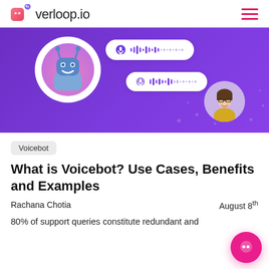verloop.io
[Figure (illustration): Purple banner with a robot chatbot character in a white circle on the left, two voice/audio chat bubbles in the center, and a person avatar circle on the bottom right. Purple gradient background with decorative dots.]
Voicebot
What is Voicebot? Use Cases, Benefits and Examples
Rachana Chotia August 8th
80% of support queries constitute redundant and